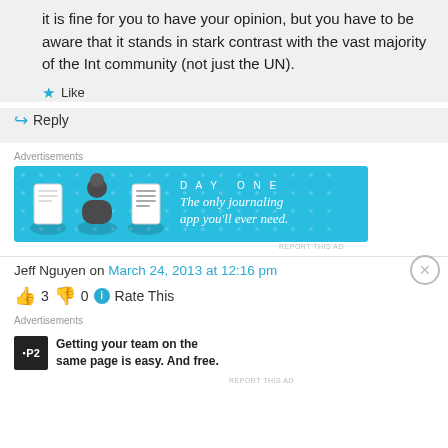it is fine for you to have your opinion, but you have to be aware that it stands in stark contrast with the vast majority of the Int community (not just the UN).
★ Like
↪ Reply
Advertisements
[Figure (screenshot): DAY ONE app advertisement banner: 'The only journaling app you'll ever need.' with icons on blue background]
REPORT THIS AD
Jeff Nguyen on March 24, 2013 at 12:16 pm
👍 3 👎 0 ℹ Rate This
Advertisements
[Figure (screenshot): P2 advertisement: 'Getting your team on the same page is easy. And free.' with P2 logo]
REPORT THIS AD